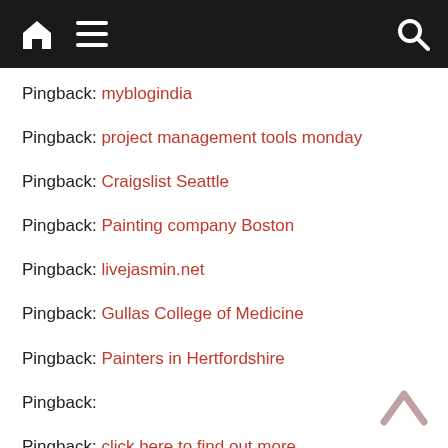Navigation bar with home, menu, and search icons
Pingback: myblogindia
Pingback: project management tools monday
Pingback: Craigslist Seattle
Pingback: Painting company Boston
Pingback: livejasmin.net
Pingback: Gullas College of Medicine
Pingback: Painters in Hertfordshire
Pingback:
Pingback: click here to find out more
Pingback: Manifesting